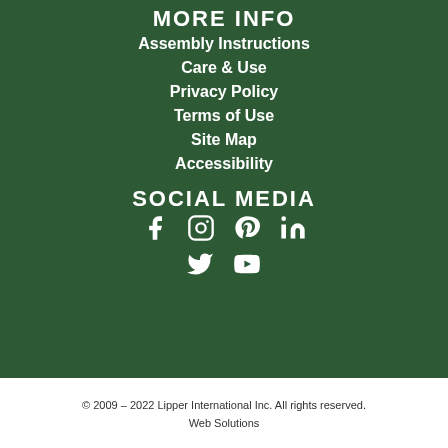MORE INFO
Assembly Instructions
Care & Use
Privacy Policy
Terms of Use
Site Map
Accessibility
SOCIAL MEDIA
[Figure (other): Social media icons: Facebook, Instagram, Pinterest, LinkedIn, Twitter, YouTube]
© 2009 – 2022 Lipper International Inc. All rights reserved. Web Solutions